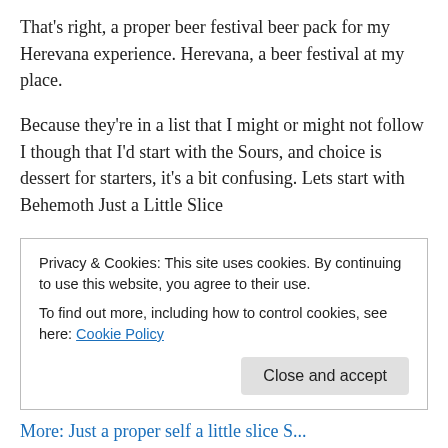That's right, a proper beer festival beer pack for my Herevana experience. Herevana, a beer festival at my place.
Because they're in a list that I might or might not follow I though that I'd start with the Sours, and choice is dessert for starters, it's a bit confusing. Lets start with Behemoth Just a Little Slice
Behemoth (Chur) Brewing Company make the Behemoth (Chur) – Just a Little Slice in their place in 🇳🇿 Auckland, New Zealand – this one is a Sour / Wild Beer –
Privacy & Cookies: This site uses cookies. By continuing to use this website, you agree to their use.
To find out more, including how to control cookies, see here: Cookie Policy
Close and accept
More: Just a proper self a little slice S...